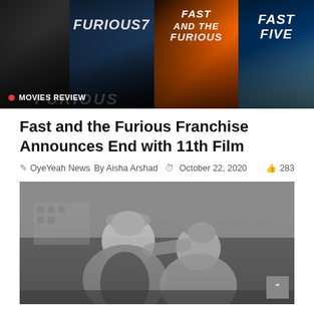[Figure (photo): Collage of Fast and Furious movie posters including Furious 7, Fast and the Furious, and Fast Five, with 'MOVIES REVIEW' badge overlay]
Fast and the Furious Franchise Announces End with 11th Film
OyeYeah News  By Aisha Arshad   October 22, 2020   283
[Figure (photo): Black and white photograph of two men sitting together, one leaning on the other's shoulder]